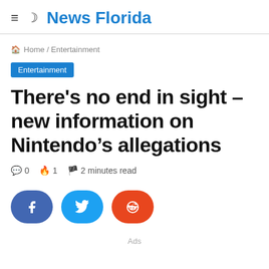≡ ☽ News Florida
🏠 Home / Entertainment
Entertainment
There's no end in sight – new information on Nintendo's allegations
💬 0  🔥 1  🏴 2 minutes read
[Figure (other): Social share buttons: Facebook, Twitter, Reddit]
Ads